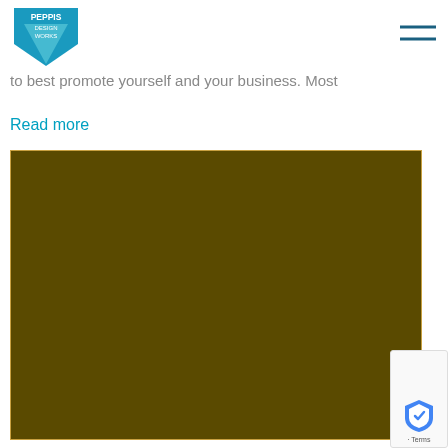[Figure (logo): Peppis Design Works logo — teal/blue inverted triangle badge with text PEPPIS DESIGN WORKS]
[Figure (other): Hamburger menu icon — two horizontal dark teal lines]
to best promote yourself and your business. Most
Read more
[Figure (photo): Large dark olive/brown rectangular image block, partially cropped]
[Figure (other): reCAPTCHA badge overlay in bottom right corner with shield icon and Terms text]